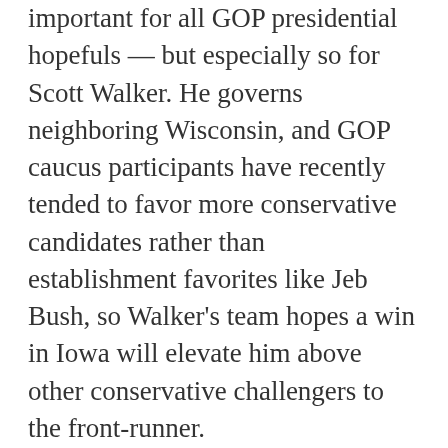important for all GOP presidential hopefuls — but especially so for Scott Walker. He governs neighboring Wisconsin, and GOP caucus participants have recently tended to favor more conservative candidates rather than establishment favorites like Jeb Bush, so Walker's team hopes a win in Iowa will elevate him above other conservative challengers to the front-runner.
Though Walker's move may have helped him in Iowa, he's now facing a backlash from some conservative activists who know and like Mair. Before Mair's firing, Erick Erickson of Redstate wrote, "I think an early test for Scott Walker is going to be if he is willing to stand up to the sound and fury of people outraged by a staffer's tweet in the way he stood up to union activists. He should stand up here and keep Liz Mair." After it, Erickson wrote the firing "plays